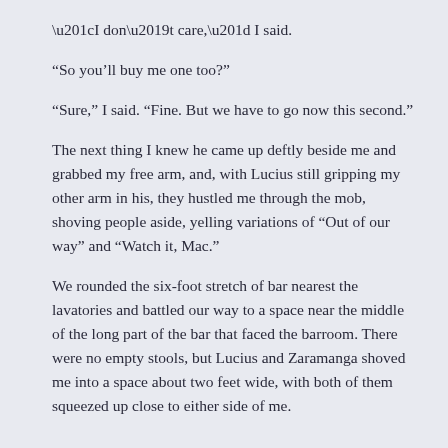“I don’t care,” I said.
“So you’ll buy me one too?”
“Sure,” I said. “Fine. But we have to go now this second.”
The next thing I knew he came up deftly beside me and grabbed my free arm, and, with Lucius still gripping my other arm in his, they hustled me through the mob, shoving people aside, yelling variations of “Out of our way” and “Watch it, Mac.”
We rounded the six-foot stretch of bar nearest the lavatories and battled our way to a space near the middle of the long part of the bar that faced the barroom. There were no empty stools, but Lucius and Zaramanga shoved me into a space about two feet wide, with both of them squeezed up close to either side of me.